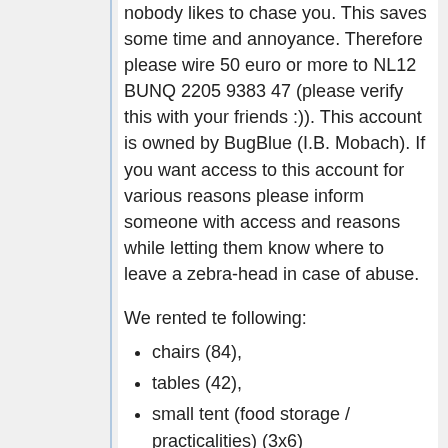nobody likes to chase you. This saves some time and annoyance. Therefore please wire 50 euro or more to NL12 BUNQ 2205 9383 47 (please verify this with your friends :)). This account is owned by BugBlue (I.B. Mobach). If you want access to this account for various reasons please inform someone with access and reasons while letting them know where to leave a zebra-head in case of abuse.
We rented te following:
chairs (84),
tables (42),
small tent (food storage / practicalities) (3x6)
Floor in the tent.
Next we'll organize some community drinks / food daily. This might included